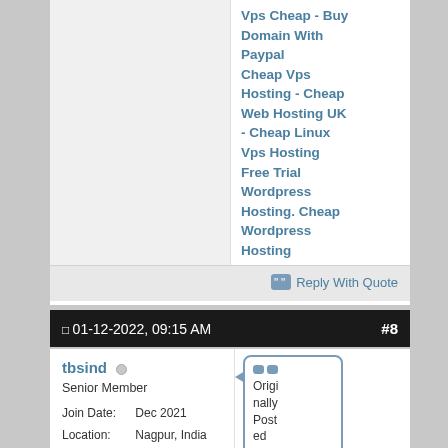Vps Cheap - Buy Domain With Paypal Cheap Vps Hosting - Cheap Web Hosting UK - Cheap Linux Vps Hosting Free Trial Wordpress Hosting. Cheap Wordpress Hosting
Reply With Quote
01-12-2022, 09:15 AM  #8
tbsind  Senior Member  Join Date: Dec 2021  Location: Nagpur, India  Posts: 645
Originally Posted by chris26  Bac...